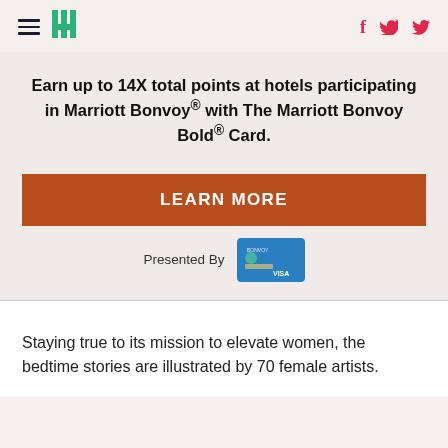HuffPost navigation header with hamburger menu, logo, Facebook and Twitter icons
Earn up to 14X total points at hotels participating in Marriott Bonvoy® with The Marriott Bonvoy Bold® Card.
LEARN MORE
Presented By
[Figure (other): Marriott Bonvoy Bold Visa credit card image]
Staying true to its mission to elevate women, the bedtime stories are illustrated by 70 female artists.